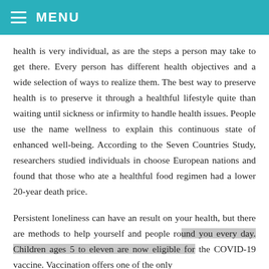MENU
health is very individual, as are the steps a person may take to get there. Every person has different health objectives and a wide selection of ways to realize them. The best way to preserve health is to preserve it through a healthful lifestyle quite than waiting until sickness or infirmity to handle health issues. People use the name wellness to explain this continuous state of enhanced well-being. According to the Seven Countries Study, researchers studied individuals in choose European nations and found that those who ate a healthful food regimen had a lower 20-year death price.
Persistent loneliness can have an result on your health, but there are methods to help yourself and people round you every day. Children ages 5 to eleven are now eligible for the COVID-19 vaccine. Vaccination offers one of the only